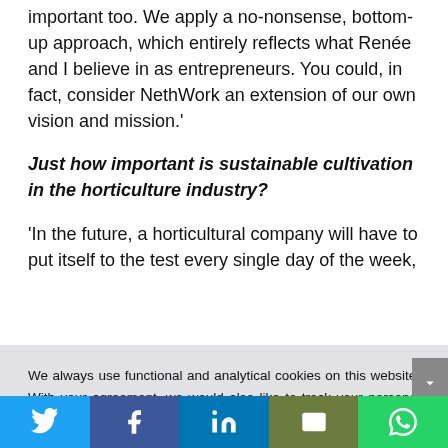important too. We apply a no-nonsense, bottom-up approach, which entirely reflects what Renée and I believe in as entrepreneurs. You could, in fact, consider NethWork an extension of our own vision and mission.'
Just how important is sustainable cultivation in the horticulture industry?
'In the future, a horticultural company will have to put itself to the test every single day of the week,
We always use functional and analytical cookies on this website. With your agreement, we would also like to track your personal internet behaviour on this website.
Click here to deny.
I consent